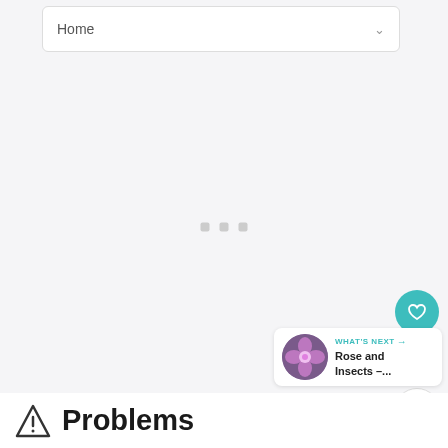Home
[Figure (screenshot): Loading state with three grey dots centered in a light grey content area]
[Figure (infographic): Heart favorite button (teal), count button showing 1, and share button on right side]
[Figure (photo): What's Next card with purple flower thumbnail, teal label WHAT'S NEXT with arrow, and text Rose and Insects -...]
Problems